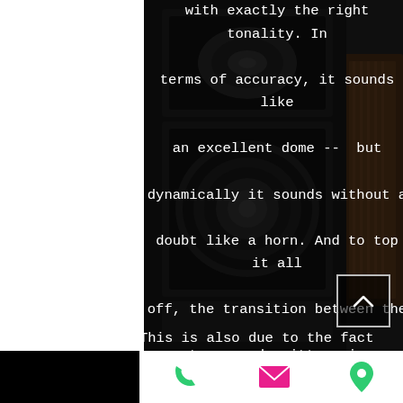with exactly the right tonality. In terms of accuracy, it sounds like an excellent dome --  but dynamically it sounds without a doubt like a horn. And to top it all off, the transition between the two sound emitters is acoustically seamless - what more could you want  ?!
[Figure (photo): Dark photograph of large floor-standing hi-fi loudspeakers with wooden cabinet, showing woofer and tweeter drivers against a dark background]
This is also due to the fact that Ulf
Phone | Email | Location icons